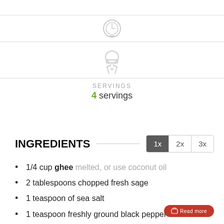[Figure (illustration): Timer/clock icon inside a circle with horizontal rules above and below]
[Figure (illustration): Chef hat with crossed fork and knife icon with horizontal rules above and below]
SERVINGS
4 servings
INGREDIENTS
1/4 cup ghee melted, or use coconut oil
2 tablespoons chopped fresh sage
1 teaspoon of sea salt
1 teaspoon freshly ground black pepper
1 teaspoon garlic powder
1/2 teaspoon onion powder
1 tablespoon lemon juice